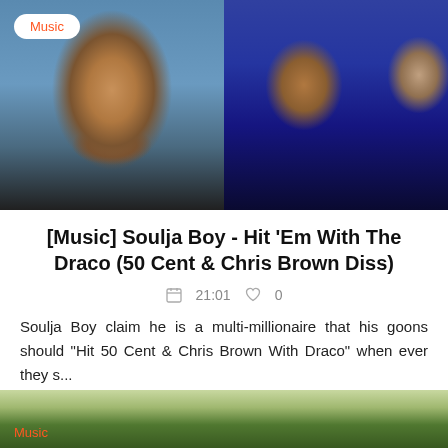[Figure (photo): Two photos side by side: left shows a young Black man with wide eyes looking at camera; right shows two men, one in blue t-shirt with gold chains and tattoos, another laughing beside him]
Music
[Music] Soulja Boy - Hit 'Em With The Draco (50 Cent & Chris Brown Diss)
21:01   0
Soulja Boy claim he is a multi-millionaire that his goons should "Hit 50 Cent & Chris Brown With Draco" when ever they s...
[Figure (photo): Partially visible photo at bottom showing people outdoors with a Music tag label]